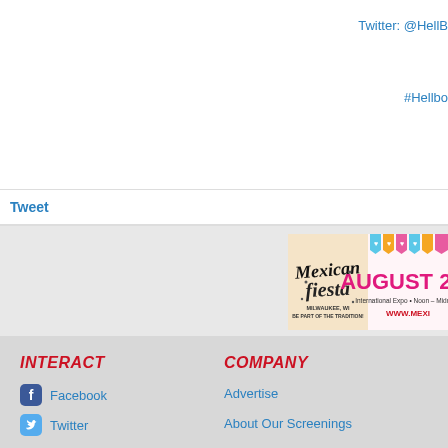Twitter: @HellB
#Hellbo
Tweet
[Figure (infographic): Mexican Fiesta advertisement banner. Shows 'Mexican fiesta' script logo on left side with 'MILWAUKEE, WI BE PART OF THE TRADITION!' text. Right side shows 'AUGUST 26.' in large pink letters, 'International Expo • Noon – Midnight' and 'WWW.MEXI' with colorful papel picado flags across the top.]
INTERACT
COMPANY
Facebook
Twitter
Advertise
About Our Screenings